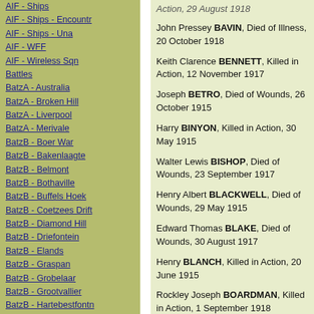AIF - Ships
AIF - Ships - Encountr
AIF - Ships - Una
AIF - WFF
AIF - Wireless Sqn
Battles
BatzA - Australia
BatzA - Broken Hill
BatzA - Liverpool
BatzA - Merivale
BatzB - Boer War
BatzB - Bakenlaagte
BatzB - Belmont
BatzB - Bothaville
BatzB - Buffels Hoek
BatzB - Coetzees Drift
BatzB - Diamond Hill
BatzB - Driefontein
BatzB - Elands
BatzB - Graspan
BatzB - Grobelaar
BatzB - Grootvallier
BatzB - Hartebestfontn
BatzB - Houtnek
BatzB - Karee Siding
BatzB - Kimberley
BatzB - Koster River
BatzB - Leeuw Kop
Action, 29 August 1918
John Pressey BAVIN, Died of Illness, 20 October 1918
Keith Clarence BENNETT, Killed in Action, 12 November 1917
Joseph BETRO, Died of Wounds, 26 October 1915
Harry BINYON, Killed in Action, 30 May 1915
Walter Lewis BISHOP, Died of Wounds, 23 September 1917
Henry Albert BLACKWELL, Died of Wounds, 29 May 1915
Edward Thomas BLAKE, Died of Wounds, 30 August 1917
Henry BLANCH, Killed in Action, 20 June 1915
Rockley Joseph BOARDMAN, Killed in Action, 1 September 1918
Felix Baron BOCKELBERG,